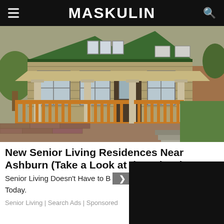MASKULIN
[Figure (photo): A craftsman-style house with an orange wood railing porch, green metal roof, tan siding, and a brick/paver driveway. Overcast sky in background with trees and a wood fence.]
New Senior Living Residences Near Ashburn (Take a Look at the Prices)
Senior Living Doesn't Have to B… Today.
Senior Living | Search Ads | Sponsored